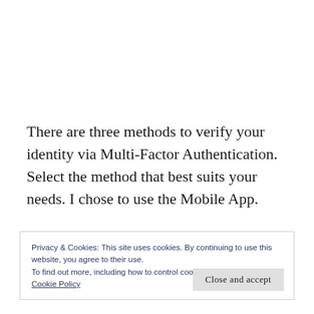There are three methods to verify your identity via Multi-Factor Authentication. Select the method that best suits your needs. I chose to use the Mobile App.
Privacy & Cookies: This site uses cookies. By continuing to use this website, you agree to their use.
To find out more, including how to control cookies, see here:
Cookie Policy
Close and accept